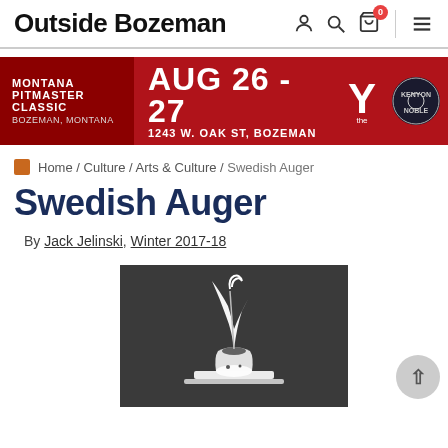Outside Bozeman
[Figure (infographic): Montana Pitmaster Classic banner ad: AUG 26-27, 1243 W. OAK ST, BOZEMAN with YMCA and Kenyon Noble logos]
Home / Culture / Arts & Culture / Swedish Auger
Swedish Auger
By Jack Jelinski, Winter 2017-18
[Figure (illustration): White quill pen in inkwell illustration on dark gray background]